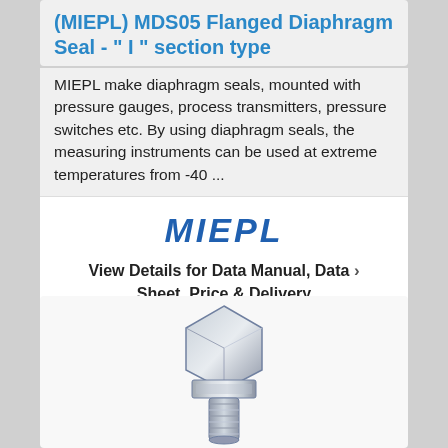(MIEPL) MDS05 Flanged Diaphragm Seal - " I " section type
MIEPL make diaphragm seals, mounted with pressure gauges, process transmitters, pressure switches etc. By using diaphragm seals, the measuring instruments can be used at extreme temperatures from -40 ...
[Figure (logo): MIEPL company logo in bold italic blue text]
View Details for Data Manual, Data Sheet, Price & Delivery
[Figure (photo): Photo of a flanged diaphragm seal fitting, metallic silver colored, showing threaded bolt/nut assembly]